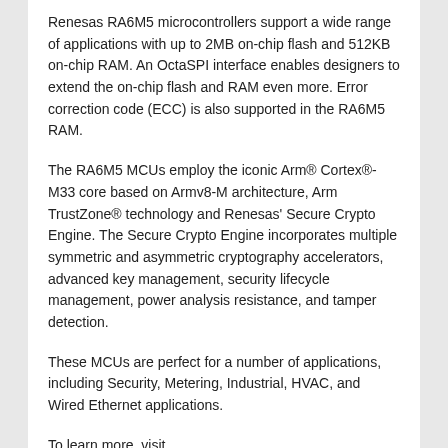Renesas RA6M5 microcontrollers support a wide range of applications with up to 2MB on-chip flash and 512KB on-chip RAM. An OctaSPI interface enables designers to extend the on-chip flash and RAM even more. Error correction code (ECC) is also supported in the RA6M5 RAM.
The RA6M5 MCUs employ the iconic Arm® Cortex®-M33 core based on Armv8-M architecture, Arm TrustZone® technology and Renesas' Secure Crypto Engine. The Secure Crypto Engine incorporates multiple symmetric and asymmetric cryptography accelerators, advanced key management, security lifecycle management, power analysis resistance, and tamper detection.
These MCUs are perfect for a number of applications, including Security, Metering, Industrial, HVAC, and Wired Ethernet applications.
To learn more, visit www.futureelectronics.com/npi/renesas-ra6m5-